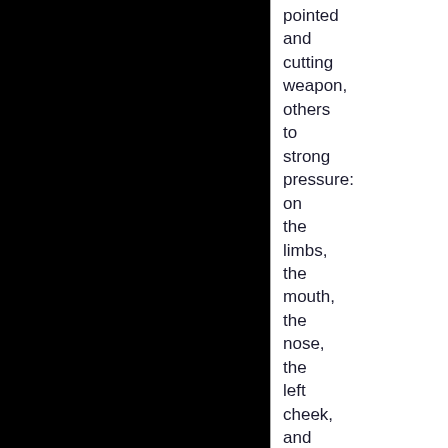pointed and cutting weapon, others to strong pressure: on the limbs, the mouth, the nose, the left cheek, and some superficial grazing on the lower